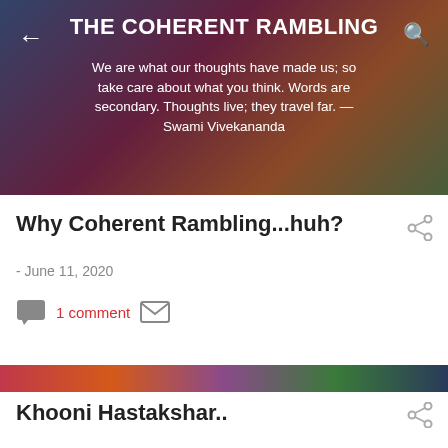THE COHERENT RAMBLING
We are what our thoughts have made us; so take care about what you think. Words are secondary. Thoughts live; they travel far. — Swami Vivekananda
Why Coherent Rambling...huh?
- June 11, 2020
1 comment
[Figure (photo): Colorful abstract or graffiti art strip]
Khooni Hastakshar..
- August 06, 2012
These lines used to fill my heart with "Josh-e-Junoon" when I was a kid,the poem I can never forget in my life.Now at 20, I